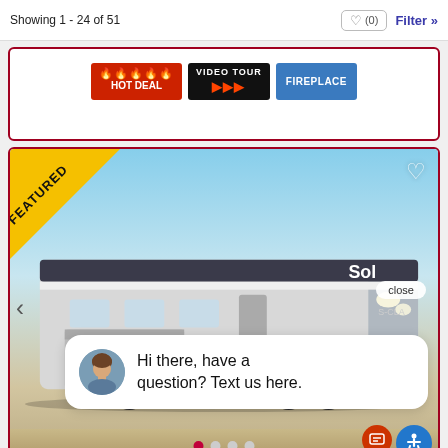Showing 1 - 24 of 51
[Figure (screenshot): Badge row showing HOT DEAL (flame icons), VIDEO TOUR (red arrows), and FIREPLACE badges]
[Figure (photo): Featured RV listing card showing a fifth-wheel RV with FEATURED banner, heart icon, navigation arrow, close button, and chat popup saying 'Hi there, have a question? Text us here.' with avatar, dot indicators at bottom, and accessibility/chat icons]